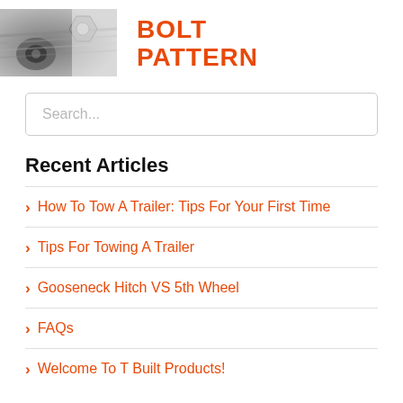[Figure (photo): Photo of bolts, nuts and threaded metal hardware in close-up, greyscale/metallic tones]
BOLT PATTERN
Search...
Recent Articles
How To Tow A Trailer: Tips For Your First Time
Tips For Towing A Trailer
Gooseneck Hitch VS 5th Wheel
FAQs
Welcome To T Built Products!